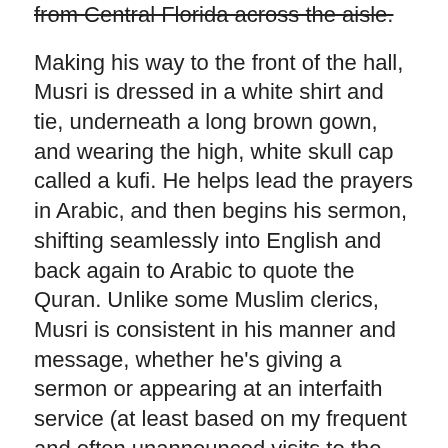from Central Florida across the aisle.
Making his way to the front of the hall, Musri is dressed in a white shirt and tie, underneath a long brown gown, and wearing the high, white skull cap called a kufi. He helps lead the prayers in Arabic, and then begins his sermon, shifting seamlessly into English and back again to Arabic to quote the Quran. Unlike some Muslim clerics, Musri is consistent in his manner and message, whether he’s giving a sermon or appearing at an interfaith service (at least based on my frequent and often unannounced visits to the mosque while I covered religion for the Orlando Sentinel). Today, I’m sitting in the back of the hall in the single row of padded chairs reserved for the aged and infirm. Although I spent an hour with Musri the day before, up the street in his office, I, too, want to hear this account